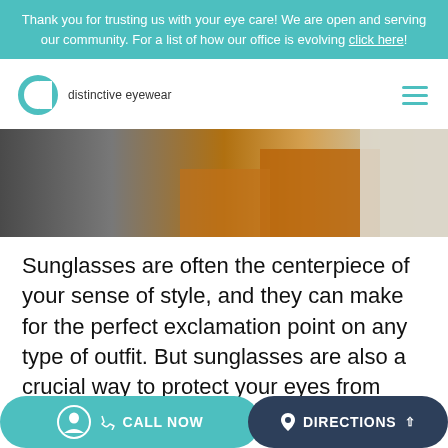Thank you for trusting us with your eye care! We are open and serving our community. For a list of how our office is evolving click here!
[Figure (logo): Distinctive Eyewear logo: teal circle C shape with text 'distinctive eyewear']
[Figure (photo): Partial photo of a person wearing an orange/rust top with a white blazer, dark background]
Sunglasses are often the centerpiece of your sense of style, and they can make for the perfect exclamation point on any type of outfit. But sunglasses are also a crucial way to protect your eyes from harmful UV rays and